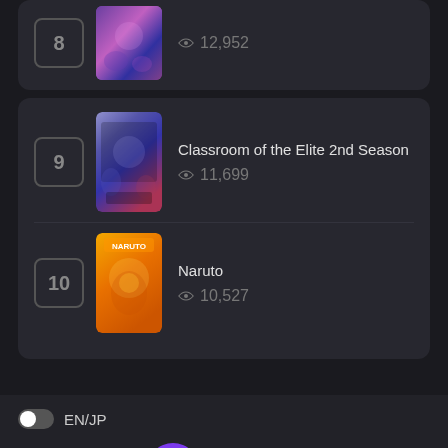8 – 12,952 views
9 – Classroom of the Elite 2nd Season – 11,699 views
10 – Naruto – 10,527 views
EN/JP
[Figure (logo): 9Anime logo: purple circle with number 9 followed by 'Anime' text in white italic bold]
Copyright © 9anime. All Rights Reserved
[Figure (other): Three social media icon buttons partially visible at bottom]